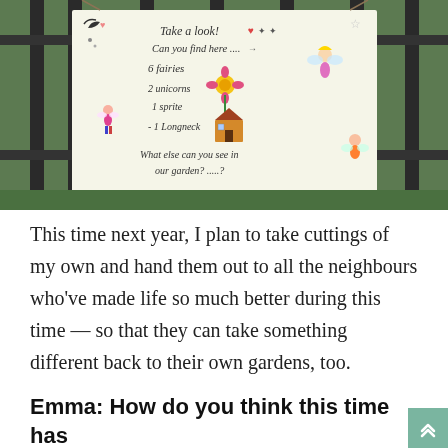[Figure (photo): Photo of a hand-drawn coloured sign hung on black iron fence railings in a garden. The sign reads: 'Take a look! Can you find here.... 6 fairies, 2 unicorns, 1 sprite, 1 Longneck, What else can you see in our garden?' with drawings of fairies, a flower, a fairy house, and other garden creatures.]
This time next year, I plan to take cuttings of my own and hand them out to all the neighbours who've made life so much better during this time — so that they can take something different back to their own gardens, too.
Emma: How do you think this time has